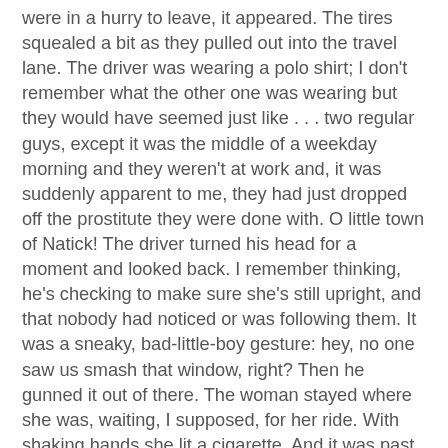were in a hurry to leave, it appeared. The tires squealed a bit as they pulled out into the travel lane. The driver was wearing a polo shirt; I don't remember what the other one was wearing but they would have seemed just like . . . two regular guys, except it was the middle of a weekday morning and they weren't at work and, it was suddenly apparent to me, they had just dropped off the prostitute they were done with. O little town of Natick! The driver turned his head for a moment and looked back. I remember thinking, he's checking to make sure she's still upright, and that nobody had noticed or was following them. It was a sneaky, bad-little-boy gesture: hey, no one saw us smash that window, right? Then he gunned it out of there. The woman stayed where she was, waiting, I supposed, for her ride. With shaking hands she lit a cigarette. And it was past time for me to get back to work.
I remember a lot of things I wish I could forget, and I wonder why that is, both the remembering and the wishing to forget. Sometimes I think that I don't really want to forget these troubling things, and I wonder why that is, too. Maybe it's because I grew up with the Bomb, which is still with us.